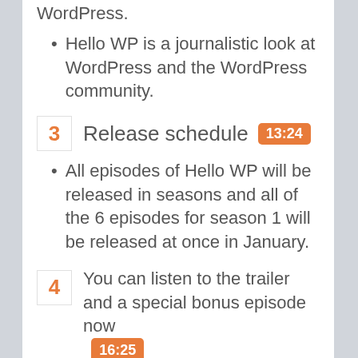WordPress.
Hello WP is a journalistic look at WordPress and the WordPress community.
3  Release schedule  13:24
All episodes of Hello WP will be released in seasons and all of the 6 episodes for season 1 will be released at once in January.
4  You can listen to the trailer and a special bonus episode now  16:25
The trailer gives you an introduction to the show, the story, and what's to come.